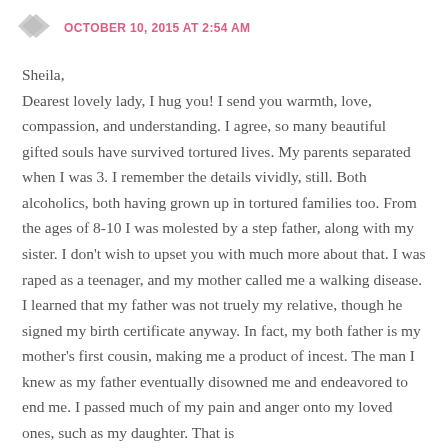OCTOBER 10, 2015 AT 2:54 AM
Sheila,
Dearest lovely lady, I hug you! I send you warmth, love, compassion, and understanding. I agree, so many beautiful gifted souls have survived tortured lives. My parents separated when I was 3. I remember the details vividly, still. Both alcoholics, both having grown up in tortured families too. From the ages of 8-10 I was molested by a step father, along with my sister. I don't wish to upset you with much more about that. I was raped as a teenager, and my mother called me a walking disease. I learned that my father was not truely my relative, though he signed my birth certificate anyway. In fact, my both father is my mother's first cousin, making me a product of incest. The man I knew as my father eventually disowned me and endeavored to end me. I passed much of my pain and anger onto my loved ones, such as my daughter. That is